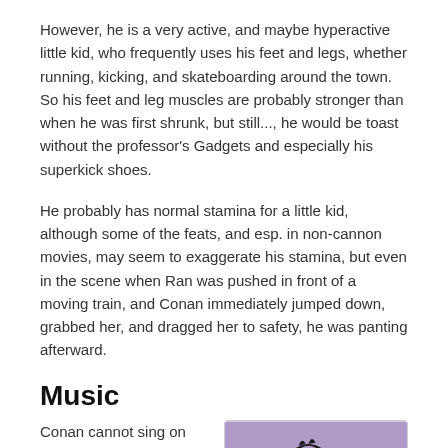However, he is a very active, and maybe hyperactive little kid, who frequently uses his feet and legs, whether running, kicking, and skateboarding around the town. So his feet and leg muscles are probably stronger than when he was first shrunk, but still..., he would be toast without the professor's Gadgets and especially his superkick shoes.
He probably has normal stamina for a little kid, although some of the feats, and esp. in non-cannon movies, may seem to exaggerate his stamina, but even in the scene when Ran was pushed in front of a moving train, and Conan immediately jumped down, grabbed her, and dragged her to safety, he was panting afterward.
Music
Conan cannot sing on key in the slightest so he is often accused of being tone deaf. Despite being a hilariously awful
[Figure (illustration): Anime character (Conan) singing into a microphone with eyes closed and mouth open, wearing glasses and a blue shirt, against a purple background]